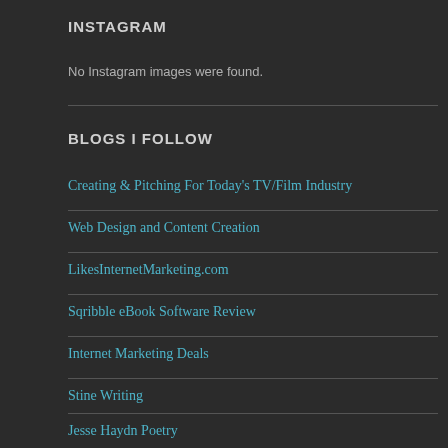INSTAGRAM
No Instagram images were found.
BLOGS I FOLLOW
Creating & Pitching For Today's TV/Film Industry
Web Design and Content Creation
LikesInternetMarketing.com
Sqribble eBook Software Review
Internet Marketing Deals
Stine Writing
Jesse Haydn Poetry
happygocopywriter